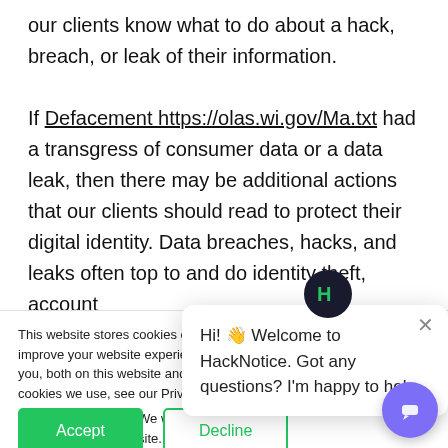our clients know what to do about a hack, breach, or leak of their information.
If Defacement https://olas.wi.gov/Ma.txt had a transgress of consumer data or a data leak, then there may be additional actions that our clients should read to protect their digital identity. Data breaches, hacks, and leaks often top to and do identity theft, account
This website stores cookies on your computer. These are used to improve your website experience you, both on this website and through cookies we use, see our Privacy P...
We won't track your site. But in order to ... we'll have to use just ... not asked to make this choice again.
[Figure (other): Cookie consent banner with Accept and Decline buttons, and a HackNotice chat popup with avatar icon and chat bubble button.]